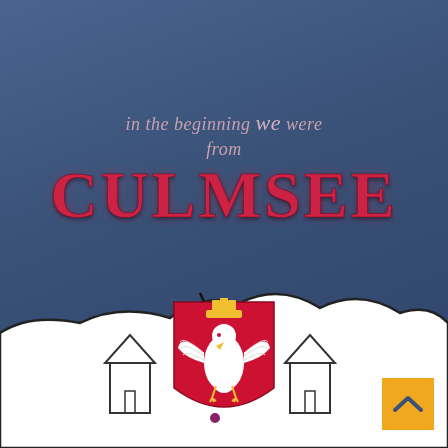in the beginning we were from CULMSEE
[Figure (illustration): Polish coat of arms: white eagle on red shield with crown, overlapping a white map silhouette region. Below the map silhouette are two simple house outlines and a smaller eagle emblem in the center.]